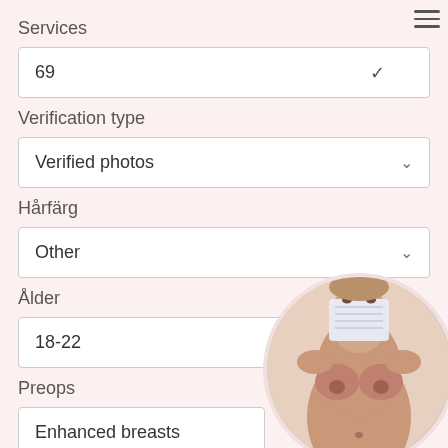Services
69
Verification type
Verified photos
Hårfärg
Other
Ålder
18-22
Preops
Enhanced breasts
Bröst
Other
[Figure (photo): Circular profile photo of a woman with a mask/undergarment covering the face area, showing torso]